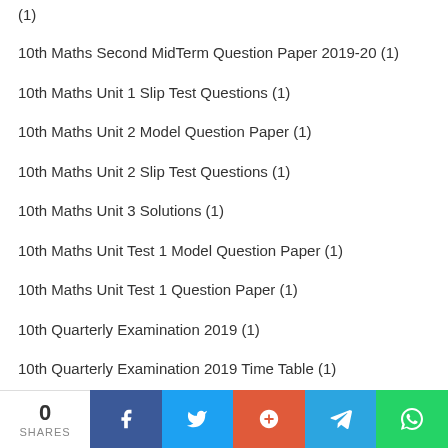(1)
10th Maths Second MidTerm Question Paper 2019-20 (1)
10th Maths Unit 1 Slip Test Questions (1)
10th Maths Unit 2 Model Question Paper (1)
10th Maths Unit 2 Slip Test Questions (1)
10th Maths Unit 3 Solutions (1)
10th Maths Unit Test 1 Model Question Paper (1)
10th Maths Unit Test 1 Question Paper (1)
10th Quarterly Examination 2019 (1)
10th Quarterly Examination 2019 Time Table (1)
10th Quarterly Examination 2019-20 (1)
10th Science 1st Mid Term Answer Key 2019-20 (1)